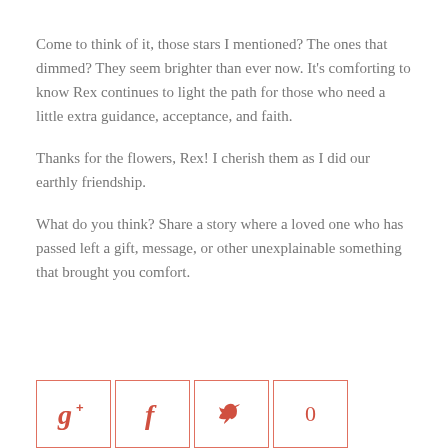Come to think of it, those stars I mentioned? The ones that dimmed? They seem brighter than ever now. It’s comforting to know Rex continues to light the path for those who need a little extra guidance, acceptance, and faith.
Thanks for the flowers, Rex! I cherish them as I did our earthly friendship.
What do you think? Share a story where a loved one who has passed left a gift, message, or other unexplainable something that brought you comfort.
[Figure (infographic): Row of four social sharing buttons with icons: Google+, Facebook, Twitter, and a count of 0, all in coral/red color with outlined square borders.]